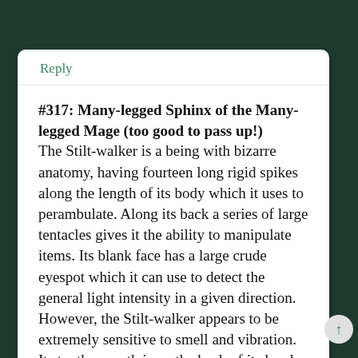Reply
#317: Many-legged Sphinx of the Many-legged Mage (too good to pass up!)
The Stilt-walker is a being with bizarre anatomy, having fourteen long rigid spikes along the length of its body which it uses to perambulate. Along its back a series of large tentacles gives it the ability to manipulate items. Its blank face has a large crude eyespot which it can use to detect the general light intensity in a given direction. However, the Stilt-walker appears to be extremely sensitive to smell and vibration. Its toothy mouth is on the back of its head, facing along the row of tentacles.
The Stilt-walker has demonstrated considerable magical and artistic